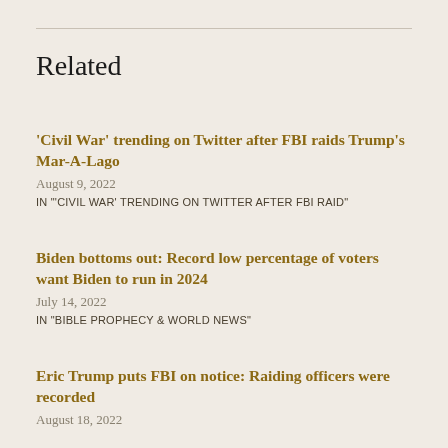Related
'Civil War' trending on Twitter after FBI raids Trump's Mar-A-Lago
August 9, 2022
IN "'CIVIL WAR' TRENDING ON TWITTER AFTER FBI RAID"
Biden bottoms out: Record low percentage of voters want Biden to run in 2024
July 14, 2022
IN "BIBLE PROPHECY & WORLD NEWS"
Eric Trump puts FBI on notice: Raiding officers were recorded
August 18, 2022